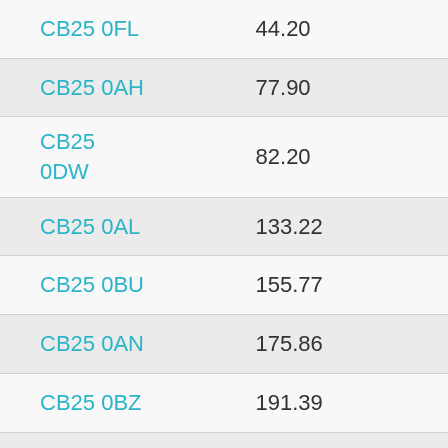| CB25 0FL | 44.20 |
| CB25 0AH | 77.90 |
| CB25 0DW | 82.20 |
| CB25 0AL | 133.22 |
| CB25 0BU | 155.77 |
| CB25 0AN | 175.86 |
| CB25 0BZ | 191.39 |
| CB25 0GH | 213.00 |